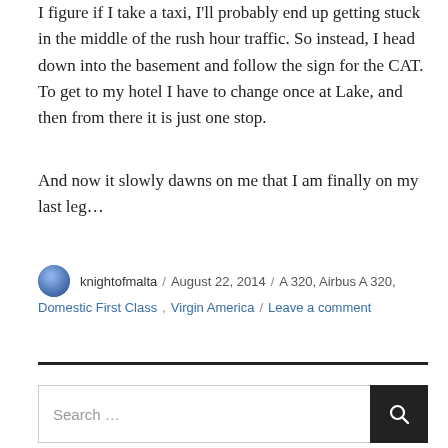I figure if I take a taxi, I'll probably end up getting stuck in the middle of the rush hour traffic. So instead, I head down into the basement and follow the sign for the CAT. To get to my hotel I have to change once at Lake, and then from there it is just one stop.
And now it slowly dawns on me that I am finally on my last leg…
knightofmalta / August 22, 2014 / A 320, Airbus A 320, Domestic First Class, Virgin America / Leave a comment
Search …